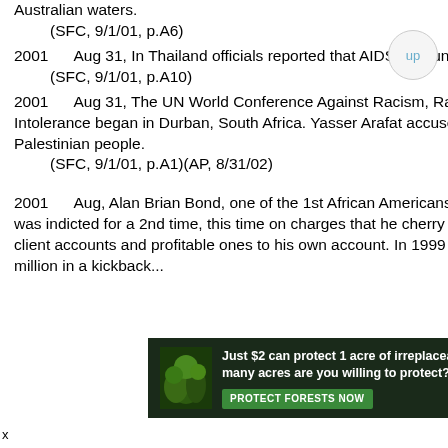Australian waters.
    (SFC, 9/1/01, p.A6)
2001    Aug 31, In Thailand officials reported that AIDS accounted for 16% of all deaths in 1998.
    (SFC, 9/1/01, p.A10)
2001    Aug 31, The UN World Conference Against Racism, Racial Discrimination, Xenophobia and Related Intolerance began in Durban, South Africa. Yasser Arafat accused Israel of "racist practices" against the Palestinian people.
    (SFC, 9/1/01, p.A1)(AP, 8/31/02)
2001    Aug, Alan Brian Bond, one of the 1st African Americans to become established as a money manager, was indicted for a 2nd time, this time on charges that he cherry picked over $50 million in unprofitable trades to client accounts and profitable ones to his own account. In 1999 he was indicted and charged with taking $6.9 million in a kickback...
[Figure (infographic): Green forest conservation advertisement: 'Just $2 can protect 1 acre of irreplaceable forest homes in the Amazon. How many acres are you willing to protect?' with a PROTECT FORESTS NOW button on a dark background with tropical plant imagery.]
x